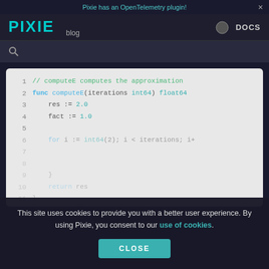Pixie has an OpenTelemetry plugin! ×
[Figure (screenshot): Pixie blog navigation bar with logo, moon/dark mode icon, and DOCS link]
🔍 (search bar)
1  // computeE computes the approximation
2  func computeE(iterations int64) float64
3      res := 2.0
4      fact := 1.0
5
6      for i := int64(2); i < iterations; i+
7
8
9      }
10     return res
11 )
This site uses cookies to provide you with a better user experience. By using Pixie, you consent to our use of cookies.
CLOSE